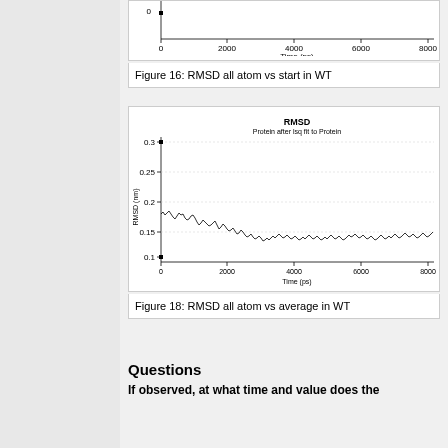[Figure (continuous-plot): Top portion of RMSD all atom vs start in WT figure, showing only bottom of chart with time axis labeled 0, 2000, 4000, 6000, 8000 (ps)]
Figure 16: RMSD all atom vs start in WT
[Figure (continuous-plot): RMSD all atom vs average in WT. Y-axis shows RMSD (nm) from 0.1 to 0.3 with gridlines at 0.15, 0.2, 0.25, 0.3. X-axis shows Time (ps) from 0 to 8000+. The trace starts near 0.19, decreases and fluctuates around 0.15-0.17 nm throughout.]
Figure 18: RMSD all atom vs average in WT
Questions
If observed, at what time and value does the